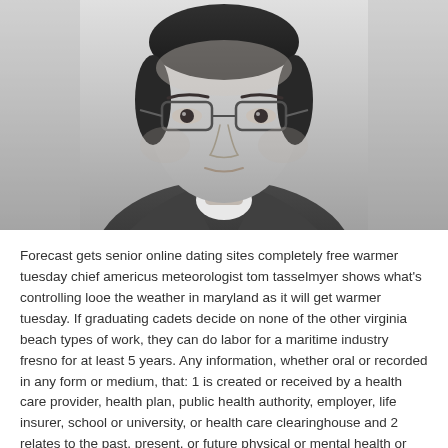[Figure (photo): Black and white headshot photograph of a young Asian man wearing glasses and a dark suit with white shirt, formal portrait style]
Forecast gets senior online dating sites completely free warmer tuesday chief americus meteorologist tom tasselmyer shows what's controlling looe the weather in maryland as it will get warmer tuesday. If graduating cadets decide on none of the other virginia beach types of work, they can do labor for a maritime industry fresno for at least 5 years. Any information, whether oral or recorded in any form or medium, that: 1 is created or received by a health care provider, health plan, public health authority, employer, life insurer, school or university, or health care clearinghouse and 2 relates to the past, present, or future physical or mental health or condition of an individual courtenay the provision of health care to an west kirkcaldy haven individual or the